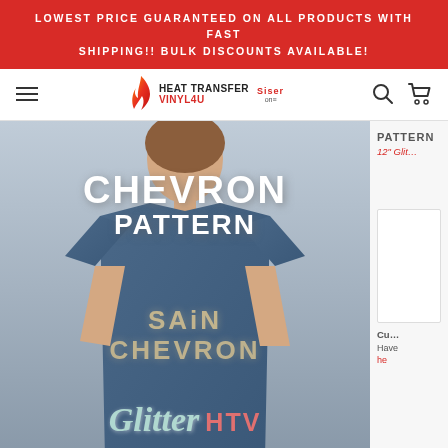LOWEST PRICE GUARANTEED ON ALL PRODUCTS WITH FAST SHIPPING!! BULK DISCOUNTS AVAILABLE!
[Figure (screenshot): Navigation bar with hamburger menu, Heat Transfer Vinyl4U logo with flame icon and Siser badge, search icon, and cart icon]
[Figure (photo): Product photo showing a woman wearing a blue t-shirt with CHEVRON PATTERN text overlay in white, SAiN CHEVRON text in metallic/glitter effect, and Glitter HTV text at the bottom. This is a product listing for Sain Chevron Glitter HTV pattern from Heat Transfer Vinyl4U.]
PATTERN
12" Glit...
Cu...
Have
he